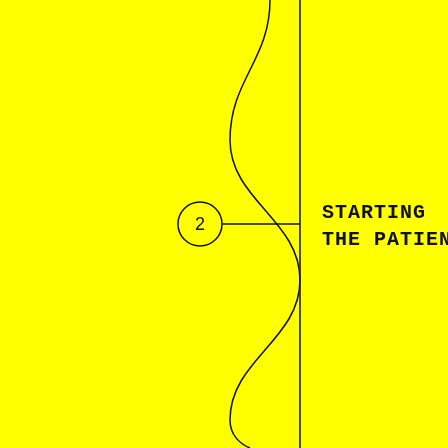[Figure (schematic): Yellow background with a vertical straight line and a sinusoidal/wavy curve intertwining around it. A circle with the number 2 is positioned on the left side with a horizontal line pointing to the intersection. Text reading 'STARTING THE PATIENT' appears to the right in monospace font.]